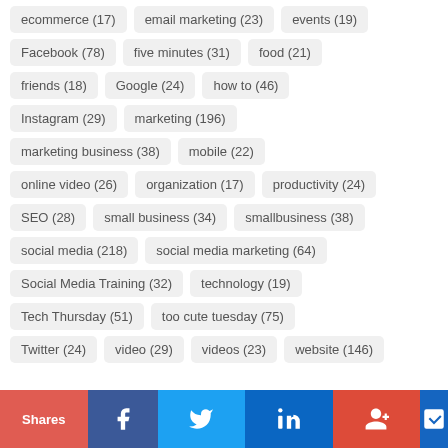ecommerce (17)
email marketing (23)
events (19)
Facebook (78)
five minutes (31)
food (21)
friends (18)
Google (24)
how to (46)
Instagram (29)
marketing (196)
marketing business (38)
mobile (22)
online video (26)
organization (17)
productivity (24)
SEO (28)
small business (34)
smallbusiness (38)
social media (218)
social media marketing (64)
Social Media Training (32)
technology (19)
Tech Thursday (51)
too cute tuesday (75)
Twitter (24)
video (29)
videos (23)
website (146)
Shares | Facebook | Twitter | LinkedIn | Google+ | Save